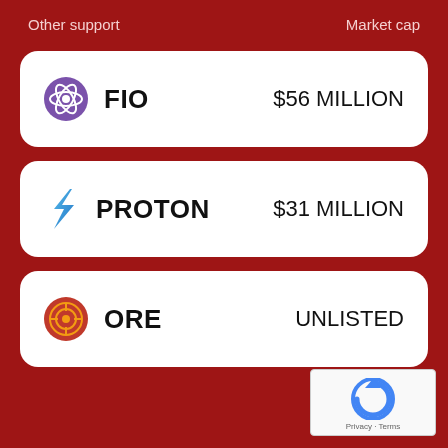Other support   Market cap
| Other support | Market cap |
| --- | --- |
| FIO | $56 MILLION |
| PROTON | $31 MILLION |
| ORE | UNLISTED |
[Figure (logo): reCAPTCHA widget with Privacy and Terms text]